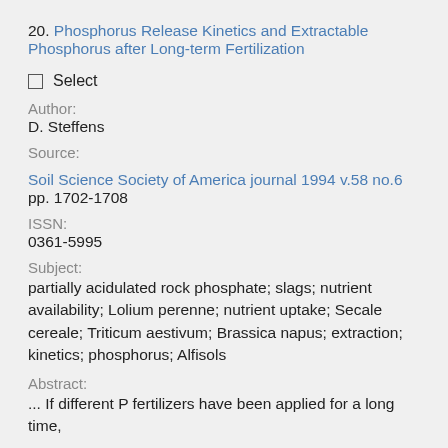20. Phosphorus Release Kinetics and Extractable Phosphorus after Long-term Fertilization
Select
Author:
D. Steffens
Source:
Soil Science Society of America journal 1994 v.58 no.6 pp. 1702-1708
ISSN:
0361-5995
Subject:
partially acidulated rock phosphate; slags; nutrient availability; Lolium perenne; nutrient uptake; Secale cereale; Triticum aestivum; Brassica napus; extraction; kinetics; phosphorus; Alfisols
Abstract:
... If different P fertilizers have been applied for a long time,